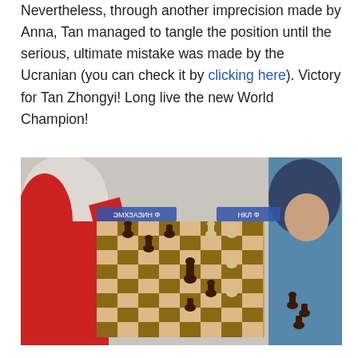Nevertheless, through another imprecision made by Anna, Tan managed to tangle the position until the serious, ultimate mistake was made by the Ucranian (you can check it by clicking here). Victory for Tan Zhongyi! Long live the new World Champion!
[Figure (photo): Two women in headscarves playing chess over a wooden chessboard. The woman on the left wears red and is reaching to make a move. The woman on the right wears blue. The board has pieces in mid-game positions.]